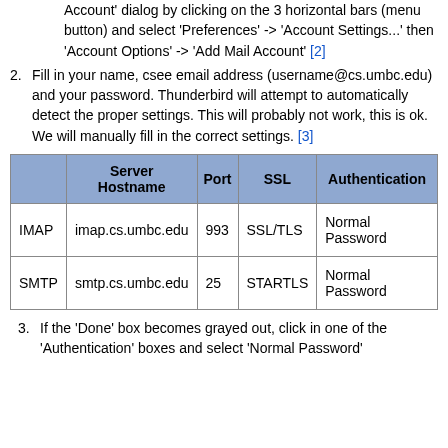Account' dialog by clicking on the 3 horizontal bars (menu button) and select 'Preferences' -> 'Account Settings...' then 'Account Options' -> 'Add Mail Account' [2]
2. Fill in your name, csee email address (username@cs.umbc.edu) and your password. Thunderbird will attempt to automatically detect the proper settings. This will probably not work, this is ok. We will manually fill in the correct settings. [3]
|  | Server Hostname | Port | SSL | Authentication |
| --- | --- | --- | --- | --- |
| IMAP | imap.cs.umbc.edu | 993 | SSL/TLS | Normal Password |
| SMTP | smtp.cs.umbc.edu | 25 | STARTLS | Normal Password |
3. If the 'Done' box becomes grayed out, click in one of the 'Authentication' boxes and select 'Normal Password'